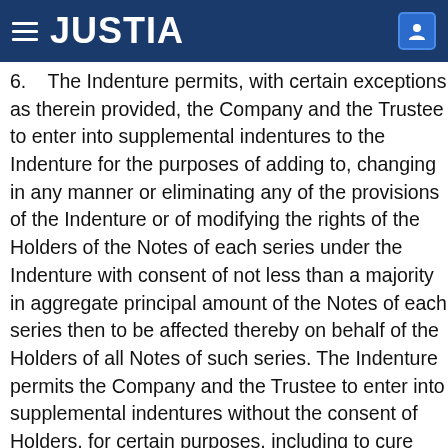JUSTIA
6.    The Indenture permits, with certain exceptions as therein provided, the Company and the Trustee to enter into supplemental indentures to the Indenture for the purposes of adding to, changing in any manner or eliminating any of the provisions of the Indenture or of modifying the rights of the Holders of the Notes of each series under the Indenture with consent of not less than a majority in aggregate principal amount of the Notes of each series then to be affected thereby on behalf of the Holders of all Notes of such series. The Indenture permits the Company and the Trustee to enter into supplemental indentures without the consent of Holders, for certain purposes, including to cure any ambiguity, defect or inconsistency contained in the Indenture and to make changes that do not adversely affect any Holder in any material respect. The Indenture also permits the Holders of not less than a majority in aggregate principal amount of the Notes at the time outstanding of each series on behalf of the Holders of all Notes of such series to waive certain past defaults and their consequences with respect to such series under the Indenture. Any such consent or waiver by the Holder of this Security shall be conclusive and binding upon such Holder and upon all future Holders of this Security and of any 2029 Note issued upon the registration of transfer hereof or in exchange hereof or in lieu hereof, whether or not notation of such consent or waiver is made upon this Security or such other 2029 Notes.